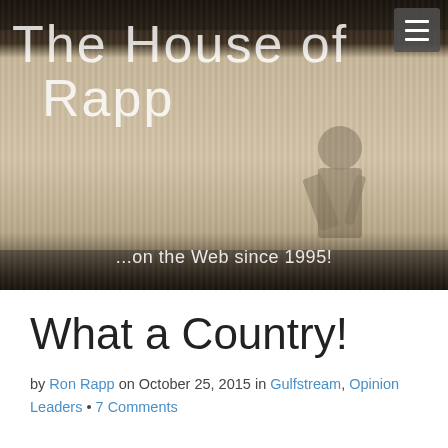[Figure (photo): Header banner for 'The House of Rapp' website. Sepia-toned photo of a man in suspenders pushing against a corrugated metal wall. Large white thin-weight text overlaid reads 'The House of Rapp' and tagline '...on the Web since 1995!' with a hamburger menu button in the top right corner.]
What a Country!
by Ron Rapp on October 25, 2015 in Gulfstream, Opinion Leaders • 7 Comments